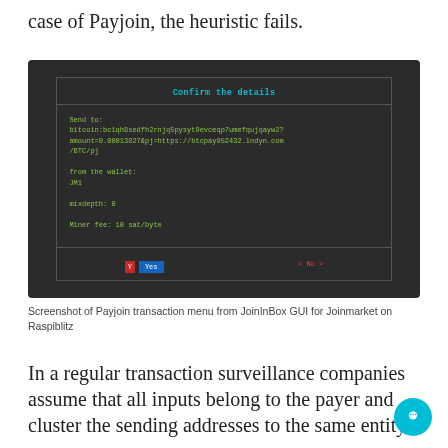case of Payjoin, the heuristic fails.
[Figure (screenshot): Screenshot of a terminal-style dialog showing a Payjoin transaction confirmation menu from JoinInBox GUI for Joinmarket on Raspiblitz. The dialog shows: 'Confirm the details', Send to: bitcoin:bc1qh8sedfh2rnjq5pysyt9evceqp7umefqujqayw2?amount=0.00013827&pj=https://btcpay952432.lndyn.com/BTC/pj, from the wallet: JM1, mixdepth: 0, Miner fee: 10 sat/byte, with Yes/No buttons at the bottom.]
Screenshot of Payjoin transaction menu from JoinInBox GUI for Joinmarket on Raspiblitz
In a regular transaction surveillance companies assume that all inputs belong to the payer and cluster the sending addresses to the same entity